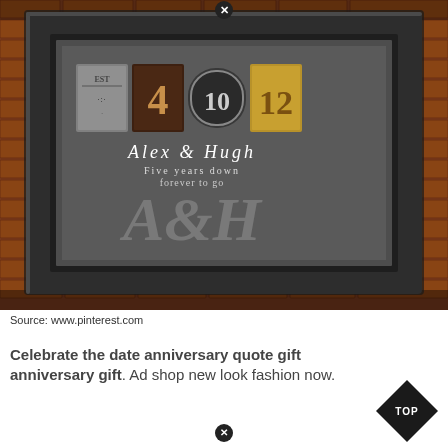[Figure (photo): A framed anniversary gift artwork hung on a brick wall. The dark frame contains decorative letter/number tiles spelling out a date (EST, 4, 10, 12), names 'Alex & Hugh', text 'Five years down forever to go', and script monogram initials A&H.]
Source: www.pinterest.com
Celebrate the date anniversary quote gift anniversary gift. Ad shop new look fashion now.